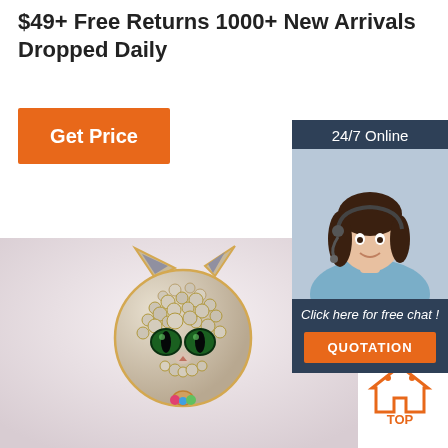$49+ Free Returns 1000+ New Arrivals Dropped Daily
[Figure (other): Orange 'Get Price' button]
[Figure (infographic): 24/7 Online chat widget with customer service agent photo, 'Click here for free chat!' text, and orange QUOTATION button]
[Figure (photo): Crystal rhinestone cat brooch jewelry with green eyes and gold setting on light background]
[Figure (logo): Orange and dark 'TOP' back-to-top button icon]